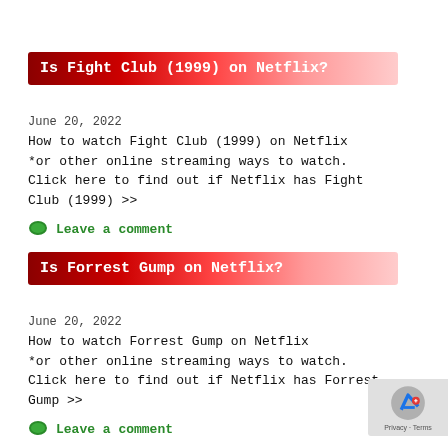Is Fight Club (1999) on Netflix?
June 20, 2022
How to watch Fight Club (1999) on Netflix
*or other online streaming ways to watch.
Click here to find out if Netflix has Fight Club (1999) >>
Leave a comment
Is Forrest Gump on Netflix?
June 20, 2022
How to watch Forrest Gump on Netflix
*or other online streaming ways to watch.
Click here to find out if Netflix has Forrest Gump >>
Leave a comment